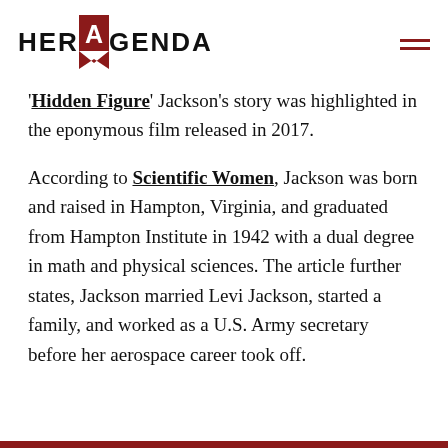HER AGENDA
'Hidden Figure' Jackson's story was highlighted in the eponymous film released in 2017.
According to Scientific Women, Jackson was born and raised in Hampton, Virginia, and graduated from Hampton Institute in 1942 with a dual degree in math and physical sciences. The article further states, Jackson married Levi Jackson, started a family, and worked as a U.S. Army secretary before her aerospace career took off.